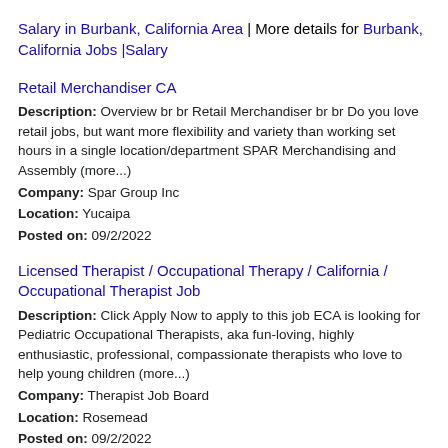Salary in Burbank, California Area | More details for Burbank, California Jobs |Salary
Retail Merchandiser CA
Description: Overview br br Retail Merchandiser br br Do you love retail jobs, but want more flexibility and variety than working set hours in a single location/department SPAR Merchandising and Assembly (more...)
Company: Spar Group Inc
Location: Yucaipa
Posted on: 09/2/2022
Licensed Therapist / Occupational Therapy / California / Occupational Therapist Job
Description: Click Apply Now to apply to this job ECA is looking for Pediatric Occupational Therapists, aka fun-loving, highly enthusiastic, professional, compassionate therapists who love to help young children (more...)
Company: Therapist Job Board
Location: Rosemead
Posted on: 09/2/2022